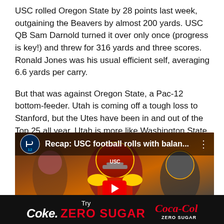USC rolled Oregon State by 28 points last week, outgaining the Beavers by almost 200 yards. USC QB Sam Darnold turned it over only once (progress is key!) and threw for 316 yards and three scores. Ronald Jones was his usual efficient self, averaging 6.6 yards per carry.
But that was against Oregon State, a Pac-12 bottom-feeder. Utah is coming off a tough loss to Stanford, but the Utes have been in and out of the Top 25 all year. Utah is more like Washington State than it is Oregon State.
[Figure (screenshot): Video thumbnail showing USC football player in helmet and jersey with PAC-12 logo and title 'Recap: USC football rolls with balan...' overlay bar, and a red YouTube play button at bottom]
Try Coke. ZERO SUGAR [Coca-Cola ZERO SUGAR logo]